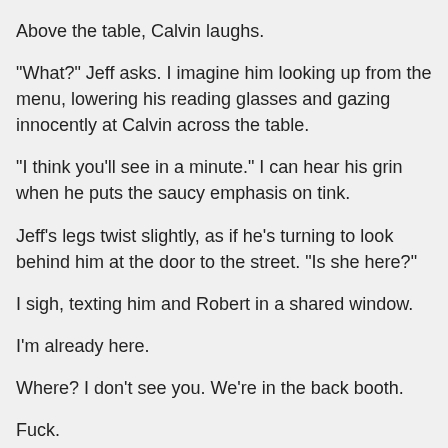Above the table, Calvin laughs.
“What?” Jeff asks. I imagine him looking up from the menu, lowering his reading glasses and gazing innocently at Calvin across the table.
“I think you’ll see in a minute.” I can hear his grin when he puts the saucy emphasis on tink.
Jeff’s legs twist slightly, as if he’s turning to look behind him at the door to the street. “Is she here?”
I sigh, texting him and Robert in a shared window.
I’m already here.
Where? I don’t see you. We’re in the back booth.
Fuck.
Fuck.